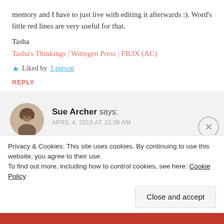memory and I have to just live with editing it afterwards :). Word's little red lines are very useful for that.
Tasha
Tasha's Thinkings | Wittegen Press | FB3X (AC)
★ Liked by 1 person
REPLY
[Figure (photo): Circular avatar photo of Sue Archer, a woman with glasses and brown hair]
Sue Archer says: APRIL 4, 2015 AT 10:38 AM
Thanks, Tasha! Yes, it's good we have
Privacy & Cookies: This site uses cookies. By continuing to use this website, you agree to their use. To find out more, including how to control cookies, see here: Cookie Policy
Close and accept